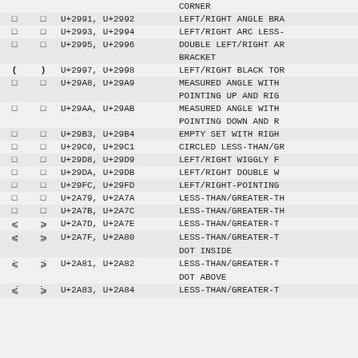| sym1 | sym2 | codes | name |
| --- | --- | --- | --- |
|  |  |  | CORNER |
| □ | □ | U+2991, U+2992 | LEFT/RIGHT ANGLE BRA |
| □ | □ | U+2993, U+2994 | LEFT/RIGHT ARC LESS- |
| □ | □ | U+2995, U+2996 | DOUBLE LEFT/RIGHT AR BRACKET |
| ( | ) | U+2997, U+2998 | LEFT/RIGHT BLACK TOR |
| □ | □ | U+29A8, U+29A9 | MEASURED ANGLE WITH POINTING UP AND RIG |
| □ | □ | U+29AA, U+29AB | MEASURED ANGLE WITH POINTING DOWN AND R |
| □ | □ | U+29B3, U+29B4 | EMPTY SET WITH RIGH |
| □ | □ | U+29C0, U+29C1 | CIRCLED LESS-THAN/GR |
| □ | □ | U+29D8, U+29D9 | LEFT/RIGHT WIGGLY F |
| □ | □ | U+29DA, U+29DB | LEFT/RIGHT DOUBLE W |
| □ | □ | U+29FC, U+29FD | LEFT/RIGHT-POINTING |
| □ | □ | U+2A79, U+2A7A | LESS-THAN/GREATER-TH |
| □ | □ | U+2A7B, U+2A7C | LESS-THAN/GREATER-TH |
| ≤ | ≥ | U+2A7D, U+2A7E | LESS-THAN/GREATER-T |
| ≦ | ≧ | U+2A7F, U+2A80 | LESS-THAN/GREATER-T DOT INSIDE |
| ≨ | ≩ | U+2A81, U+2A82 | LESS-THAN/GREATER-T DOT ABOVE |
| ≤ | ≥ | U+2A83, U+2A84 | LESS-THAN/GREATER-T |